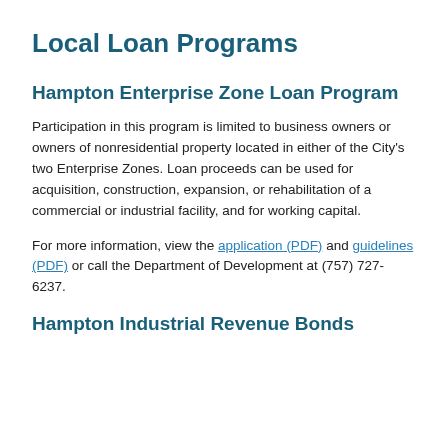Local Loan Programs
Hampton Enterprise Zone Loan Program
Participation in this program is limited to business owners or owners of nonresidential property located in either of the City's two Enterprise Zones. Loan proceeds can be used for acquisition, construction, expansion, or rehabilitation of a commercial or industrial facility, and for working capital.
For more information, view the application (PDF) and guidelines (PDF) or call the Department of Development at (757) 727-6237.
Hampton Industrial Revenue Bonds